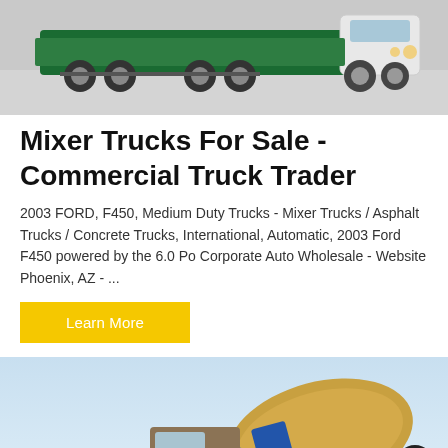[Figure (photo): Commercial mixer truck / concrete truck parked on a grey surface, viewed from the rear-side angle. Green and white truck with large wheels.]
Mixer Trucks For Sale - Commercial Truck Trader
2003 FORD, F450, Medium Duty Trucks - Mixer Trucks / Asphalt Trucks / Concrete Trucks, International, Automatic, 2003 Ford F450 powered by the 6.0 Po Corporate Auto Wholesale - Website Phoenix, AZ - ...
Learn More
[Figure (photo): Concrete mixer truck with yellow and blue drum, chute extended, photographed against a light blue sky background.]